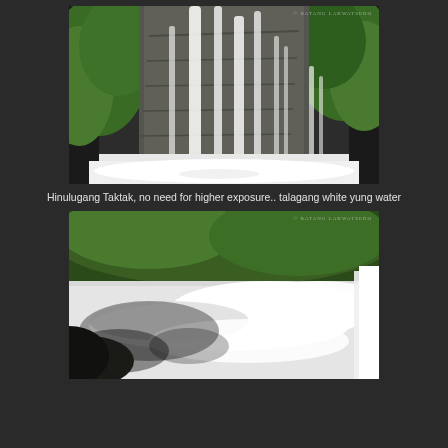[Figure (photo): Photograph of Hinulugang Taktak waterfall cascading over wide rocky face surrounded by lush green vegetation, with white foamy water at the base. Watermark reads '© Batang Lakwatsero' in upper right.]
Hinulugang Taktak, no need for higher exposure.. talagang white yung water
[Figure (photo): Close-up photograph of the white foamy water pool at the base of Hinulugang Taktak waterfall, showing turbulent white water with green vegetation around. Watermark reads '© Batang Lakwatsero' in upper right.]